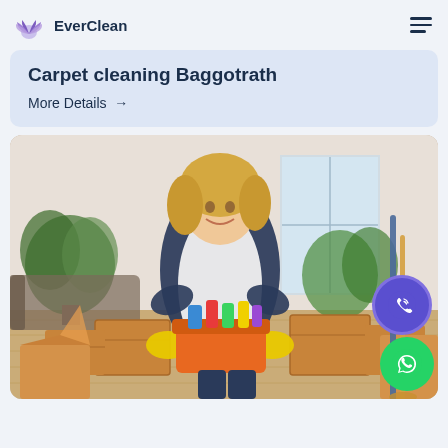EverClean
Carpet cleaning Baggotrath
More Details →
[Figure (photo): A professional female cleaner in a white apron and yellow gloves, holding a basket of cleaning supplies, surrounded by cardboard moving boxes in a living room with plants and wooden floor. Contact buttons (phone/Viber and WhatsApp) overlay the right side of the image.]